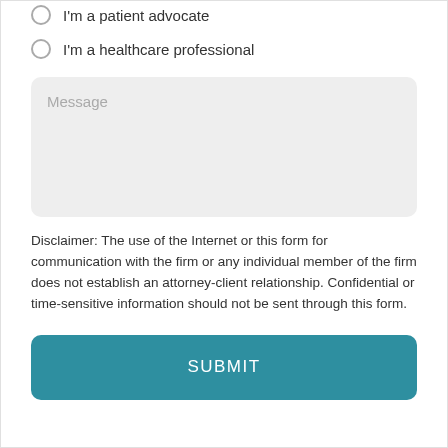I'm a patient advocate
I'm a healthcare professional
Message
Disclaimer: The use of the Internet or this form for communication with the firm or any individual member of the firm does not establish an attorney-client relationship. Confidential or time-sensitive information should not be sent through this form.
SUBMIT